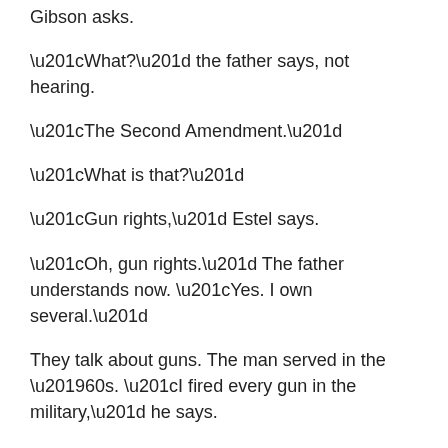Gibson asks.
“What?” the father says, not hearing.
“The Second Amendment.”
“What is that?”
“Gun rights,” Estel says.
“Oh, gun rights.” The father understands now. “Yes. I own several.”
They talk about guns. The man served in the ’60s. “I fired every gun in the military,” he says.
“You ever killed anyone?” Gibson asks.
The man takes it in stride. He chuckles. “I hope I didn’t, I may have,” he says. “Did you serve?”
“No,” Gibson says in a clipped tone.